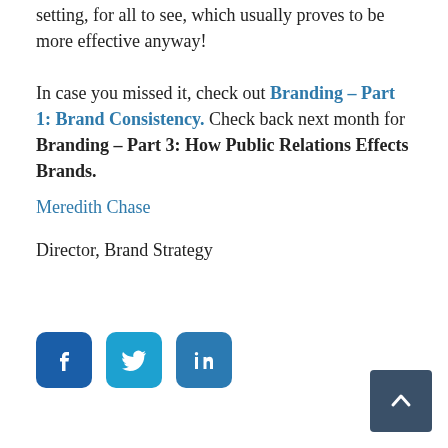setting, for all to see, which usually proves to be more effective anyway!
In case you missed it, check out Branding – Part 1: Brand Consistency. Check back next month for Branding – Part 3: How Public Relations Effects Brands.
Meredith Chase
Director, Brand Strategy
[Figure (other): Social media icons: Facebook, Twitter, LinkedIn share buttons and a back-to-top arrow button]